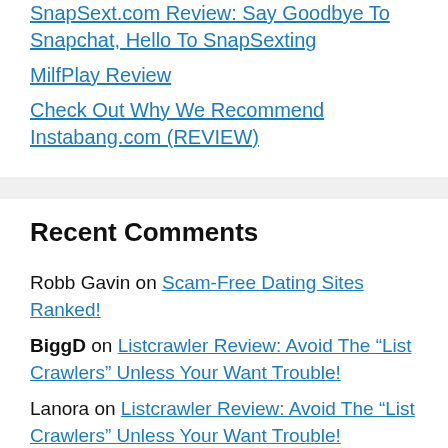SnapSext.com Review: Say Goodbye To Snapchat, Hello To SnapSexting
MilfPlay Review
Check Out Why We Recommend Instabang.com (REVIEW)
Recent Comments
Robb Gavin on Scam-Free Dating Sites Ranked!
BiggD on Listcrawler Review: Avoid The “List Crawlers” Unless Your Want Trouble!
Lanora on Listcrawler Review: Avoid The “List Crawlers” Unless Your Want Trouble!